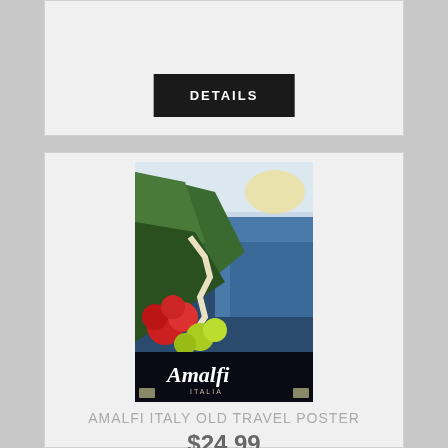DETAILS
[Figure (illustration): Vintage Amalfi Italy travel poster showing coastal cliffs, winding road, red and yellow flowers in foreground, blue sea, with 'Amalfi' text in white italic lettering]
AMALFI ITALY OLD TRAVEL POSTER
$24.99